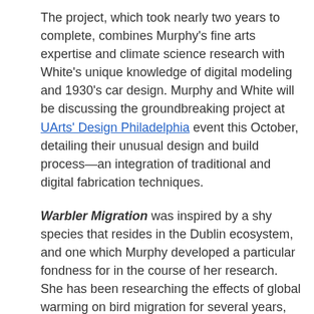The project, which took nearly two years to complete, combines Murphy's fine arts expertise and climate science research with White's unique knowledge of digital modeling and 1930's car design. Murphy and White will be discussing the groundbreaking project at UArts' Design Philadelphia event this October, detailing their unusual design and build process—an integration of traditional and digital fabrication techniques.
Warbler Migration was inspired by a shy species that resides in the Dublin ecosystem, and one which Murphy developed a particular fondness for in the course of her research. She has been researching the effects of global warming on bird migration for several years, using the visual data that scientists share with her to conceptualize and execute her paintings. The couple sees the opportunity to create environmentally-aware public art as an especially fulfilling one because of the potential to touch so many lives.